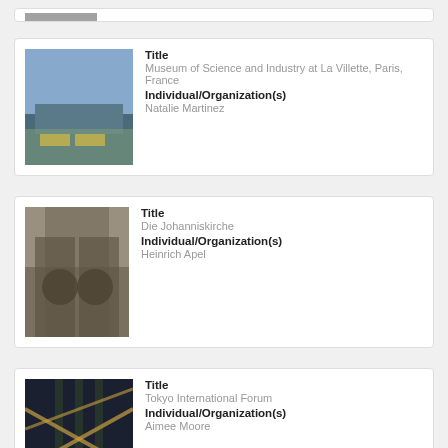[Figure (photo): Partial card at top of page showing a small photo fragment]
Title
Museum of Science and Industry at La Villette, Paris, France
Individual/Organization(s)
Natalie Martinez
[Figure (photo): Photo of Die Johanniskirche showing ornate bronze church doors]
Title
Die Johanniskirche
Individual/Organization(s)
Heinrich Apel
[Figure (photo): Photo of Tokyo International Forum interior with dramatic lighting]
Title
Tokyo International Forum
Individual/Organization(s)
Aimee Moore
[Figure (photo): Partial photo of New National Library of France, Paris, France]
Title
New National Library of France, Paris, France